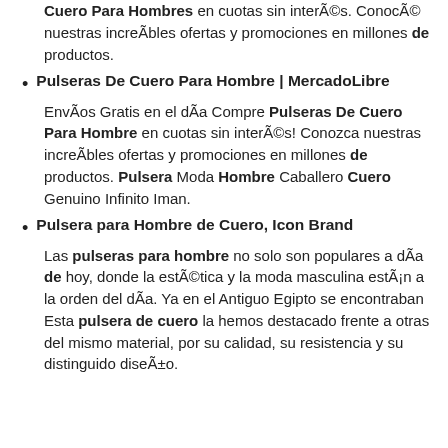Cuero Para Hombres en cuotas sin interés. Conocé nuestras increíbles ofertas y promociones en millones de productos.
Pulseras De Cuero Para Hombre | MercadoLibre
Envíos Gratis en el día Compre Pulseras De Cuero Para Hombre en cuotas sin interés! Conozca nuestras increíbles ofertas y promociones en millones de productos. Pulsera Moda Hombre Caballero Cuero Genuino Infinito Iman.
Pulsera para Hombre de Cuero, Icon Brand
Las pulseras para hombre no solo son populares a día de hoy, donde la estética y la moda masculina están a la orden del día. Ya en el Antiguo Egipto se encontraban Esta pulsera de cuero la hemos destacado frente a otras del mismo material, por su calidad, su resistencia y su distinguido diseño.